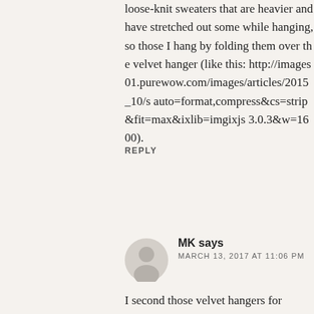loose-knit sweaters that are heavier and have stretched out some while hanging, so those I hang by folding them over the velvet hanger (like this: http://images01.purewow.com/images/articles/2015_10/s auto=format,compress&cs=strip&fit=max&ixlib=imgixjs 3.0.3&w=1600).
REPLY
[Figure (illustration): Gray circular avatar/profile picture placeholder showing a silhouette of a person]
MK says MARCH 13, 2017 AT 11:06 PM
I second those velvet hangers for sweaters. I fold the sweater in half lengthwise, then fold the arms over/down, then hang the sweater over the